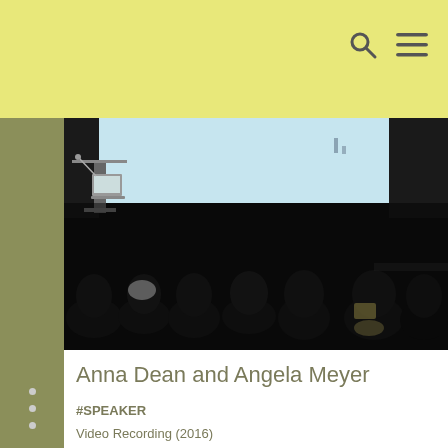[Figure (photo): Dark photograph of an audience viewed from behind, watching a presentation screen in a darkened room. A laptop and podium are visible at the front left, with a bright projection screen visible at the top.]
Anna Dean and Angela Meyer
#SPEAKER
Video Recording (2016)
Spark 2016